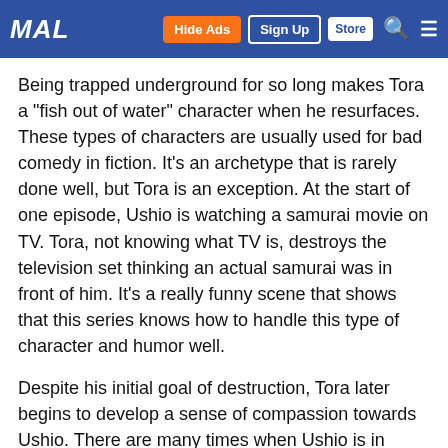MAL | Hide Ads | Sign Up | Store
Being trapped underground for so long makes Tora a "fish out of water" character when he resurfaces. These types of characters are usually used for bad comedy in fiction. It's an archetype that is rarely done well, but Tora is an exception. At the start of one episode, Ushio is watching a samurai movie on TV. Tora, not knowing what TV is, destroys the television set thinking an actual samurai was in front of him. It's a really funny scene that shows that this series knows how to handle this type of character and humor well.
Despite his initial goal of destruction, Tora later begins to develop a sense of compassion towards Ushio. There are many times when Ushio is in danger and Tora will go out of his way to help him to safety. He says the reason he does this is because he won't let any other demon eat Ushio first. Not to mention, if Ushio dies, he won't be as tasty! At first you believe Tora when he says this, but as the series progresses you begin to see that it's just a front. He is helping Ushio because he considers him a friend. He just won't admit it because of his demonic status.